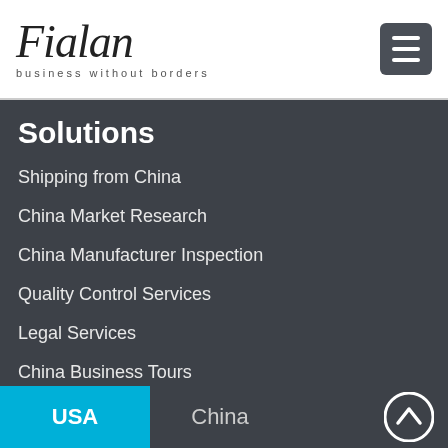Fialan — business without borders
Solutions
Shipping from China
China Market Research
China Manufacturer Inspection
Quality Control Services
Legal Services
China Business Tours
Warehousing services
Export to China
USA   China